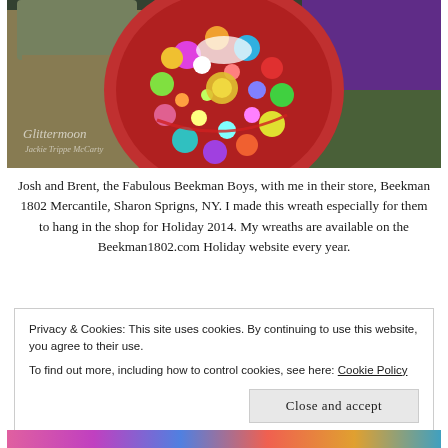[Figure (photo): Photo of two people holding a large colorful Christmas wreath decorated with ornaments, inside a store. Watermark reads 'Glittermoon' and 'Jackie Trippe McCarty'.]
Josh and Brent, the Fabulous Beekman Boys, with me in their store, Beekman 1802 Mercantile, Sharon Sprigns, NY. I made this wreath especially for them to hang in the shop for Holiday 2014. My wreaths are available on the Beekman1802.com Holiday website every year.
Privacy & Cookies: This site uses cookies. By continuing to use this website, you agree to their use.
To find out more, including how to control cookies, see here: Cookie Policy
Close and accept
[Figure (photo): Bottom portion of another colorful photo, partially visible.]